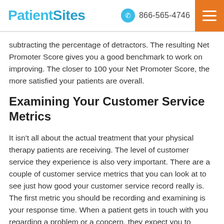PatientSites  866-565-4746
subtracting the percentage of detractors. The resulting Net Promoter Score gives you a good benchmark to work on improving. The closer to 100 your Net Promoter Score, the more satisfied your patients are overall.
Examining Your Customer Service Metrics
It isn't all about the actual treatment that your physical therapy patients are receiving. The level of customer service they experience is also very important. There are a couple of customer service metrics that you can look at to see just how good your customer service record really is. The first metric you should be recording and examining is your response time. When a patient gets in touch with you regarding a problem or a concern, they expect you to respond in a timely manner. If you do not